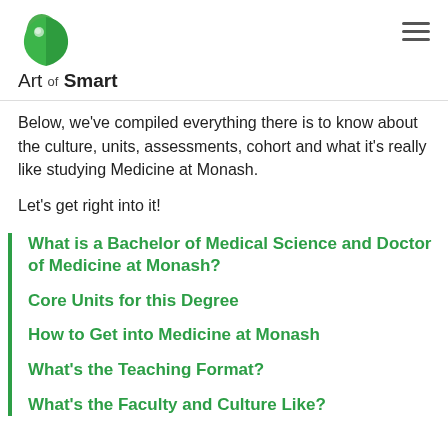Art of Smart
Below, we've compiled everything there is to know about the culture, units, assessments, cohort and what it's really like studying Medicine at Monash.
Let's get right into it!
What is a Bachelor of Medical Science and Doctor of Medicine at Monash?
Core Units for this Degree
How to Get into Medicine at Monash
What's the Teaching Format?
What's the Faculty and Culture Like?